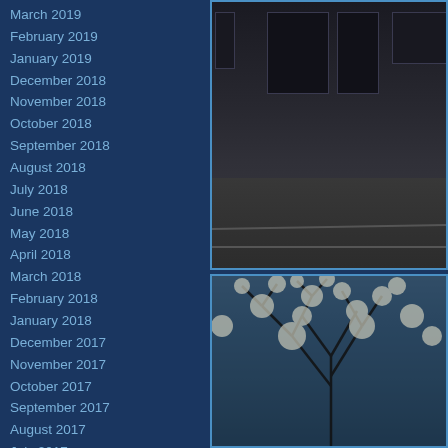March 2019
February 2019
January 2019
December 2018
November 2018
October 2018
September 2018
August 2018
July 2018
June 2018
May 2018
April 2018
March 2018
February 2018
January 2018
December 2017
November 2017
October 2017
September 2017
August 2017
July 2017
June 2017
May 2017
April 2017
March 2017
February 2017
[Figure (photo): Dark exterior of a building with large windows, parking lot in foreground]
[Figure (photo): Tree with blossoms against a blue sky, viewed from below]